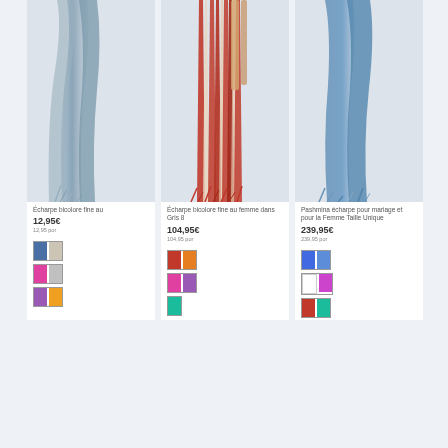[Figure (photo): Blue draped fabric hanging against white background]
Écharpe bicolore fine au
12,95€
[Figure (photo): Red draped fabric/scarves hanging against white background]
Écharpe bicolore fine au femme dans Gris 8
104,95€
[Figure (photo): Blue draped fabric hanging against white background]
Pashmina écharpe pour mariage et pour la Femme Taille Unique
239,95€